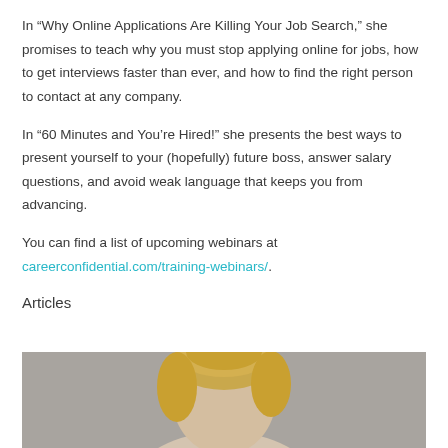In “Why Online Applications Are Killing Your Job Search,” she promises to teach why you must stop applying online for jobs, how to get interviews faster than ever, and how to find the right person to contact at any company.
In “60 Minutes and You’re Hired!” she presents the best ways to present yourself to your (hopefully) future boss, answer salary questions, and avoid weak language that keeps you from advancing.
You can find a list of upcoming webinars at careerconfidential.com/training-webinars/.
Articles
[Figure (photo): Photo of a person with blonde hair, partially visible, against a gray background.]